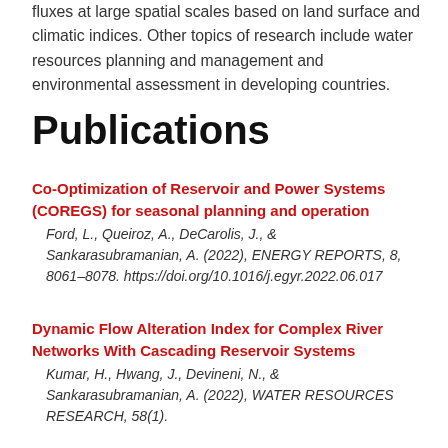fluxes at large spatial scales based on land surface and climatic indices. Other topics of research include water resources planning and management and environmental assessment in developing countries.
Publications
Co-Optimization of Reservoir and Power Systems (COREGS) for seasonal planning and operation
Ford, L., Queiroz, A., DeCarolis, J., & Sankarasubramanian, A. (2022), ENERGY REPORTS, 8, 8061–8078. https://doi.org/10.1016/j.egyr.2022.06.017
Dynamic Flow Alteration Index for Complex River Networks With Cascading Reservoir Systems
Kumar, H., Hwang, J., Devineni, N., & Sankarasubramanian, A. (2022), WATER RESOURCES RESEARCH, 58(1).